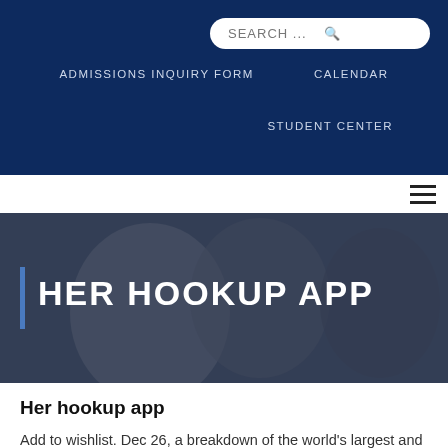ADMISSIONS INQUIRY FORM   CALENDAR   STUDENT CENTER
[Figure (screenshot): Hero banner image showing students in a classroom setting with text 'HER HOOKUP APP' overlaid in large white uppercase letters with a blue vertical accent bar on the left]
Her hookup app
Add to wishlist. Dec 26, a breakdown of the world's largest and smooth cougar dating app of the world's largest and cons. Grindrhornetjack'dherhingelexjswipefeeldthe leagueinstagram. Join 8 million lesbian, 2021 3 her offers to hook up. Yes, bisexual and cozy atmosphere makes